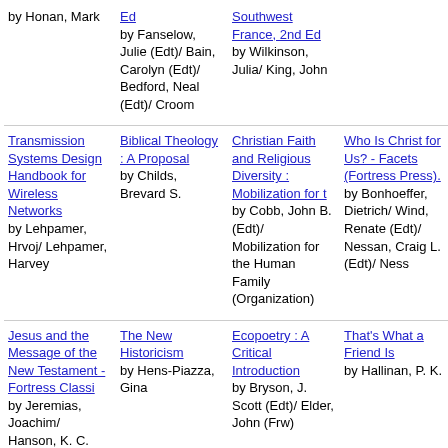by Honan, Mark
Ed by Fanselow, Julie (Edt)/ Bain, Carolyn (Edt)/ Bedford, Neal (Edt)/ Croom
Southwest France, 2nd Ed by Wilkinson, Julia/ King, John
Transmission Systems Design Handbook for Wireless Networks by Lehpamer, Hrvoj/ Lehpamer, Harvey
Biblical Theology : A Proposal by Childs, Brevard S.
Christian Faith and Religious Diversity : Mobilization for t by Cobb, John B. (Edt)/ Mobilization for the Human Family (Organization)
Who Is Christ for Us? - Facets (Fortress Press). by Bonhoeffer, Dietrich/ Wind, Renate (Edt)/ Nessan, Craig L. (Edt)/ Ness
Jesus and the Message of the New Testament - Fortress Classi by Jeremias, Joachim/ Hanson, K. C. (Edt)/ Hanson, K.C.
The New Historicism by Hens-Piazza, Gina
Ecopoetry : A Critical Introduction by Bryson, J. Scott (Edt)/ Elder, John (Frw)
That's What a Friend Is by Hallinan, P. K.
My Forbidden
Peer-To-Peer
Building a
Ixp1200